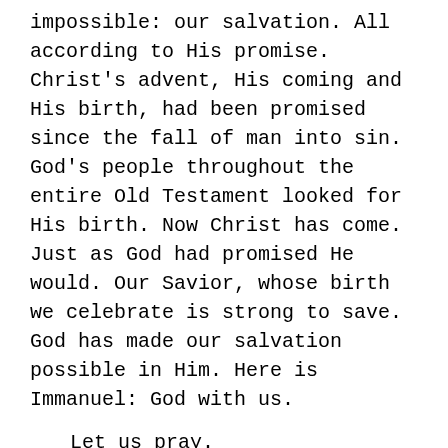impossible:  our salvation.  All according to His promise.  Christ's advent, His coming and His birth, had been promised since the fall of man into sin.  God's people throughout the entire Old Testament looked for His birth.  Now Christ has come.  Just as God had promised He would.  Our Savior, whose birth we celebrate is strong to save.  God has made our salvation possible in Him.  Here is Immanuel:  God with us.
Let us pray.
Our Father in heaven, we thank Thee for our Immanuel, Jesus Christ, whom Thou hast sent into this world to save us from our sins.  We thank Thee for that birth, which has made such salvation possible.  May we go forth in that thankfulness in this time of year and always in our lives.  And wilt Thou watch over us to guard